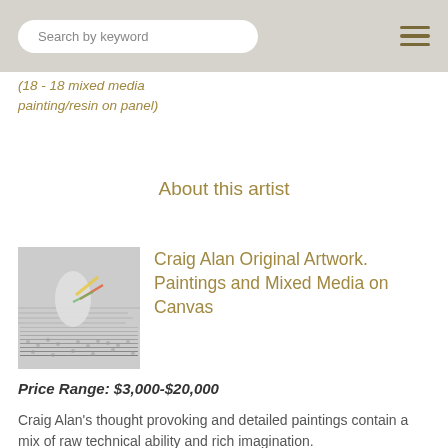Search by keyword
(18 - 18 Mixed media painting/resin on panel)
About this artist
Craig Alan Original Artwork. Paintings and Mixed Media on Canvas
Price Range: $3,000-$20,000
Craig Alan's thought provoking and detailed paintings contain a mix of raw technical ability and rich imagination.